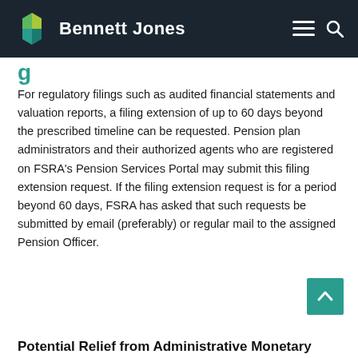Bennett Jones
g
For regulatory filings such as audited financial statements and valuation reports, a filing extension of up to 60 days beyond the prescribed timeline can be requested. Pension plan administrators and their authorized agents who are registered on FSRA's Pension Services Portal may submit this filing extension request. If the filing extension request is for a period beyond 60 days, FSRA has asked that such requests be submitted by email (preferably) or regular mail to the assigned Pension Officer.
Potential Relief from Administrative Monetary